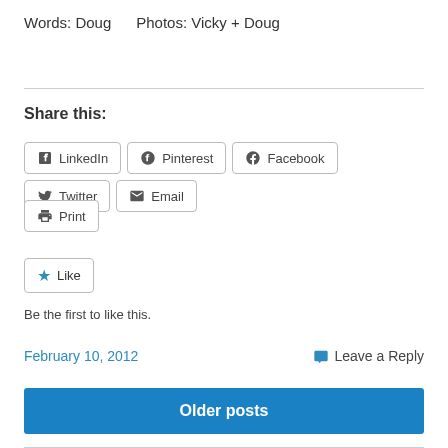Words: Doug    Photos: Vicky + Doug
Share this:
LinkedIn  Pinterest  Facebook  Twitter  Email  Print
Like
Be the first to like this.
February 10, 2012    Leave a Reply
Older posts